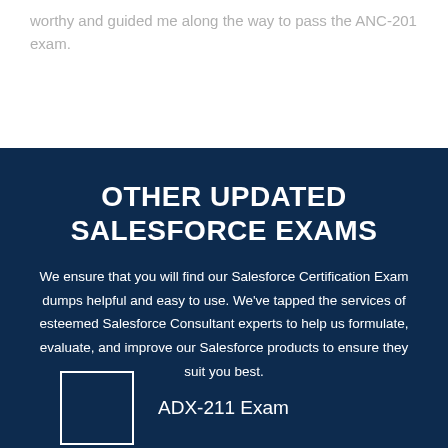worthy and guided me along the way to pass the ANC-201 exam.
OTHER UPDATED SALESFORCE EXAMS
We ensure that you will find our Salesforce Certification Exam dumps helpful and easy to use. We've tapped the services of esteemed Salesforce Consultant experts to help us formulate, evaluate, and improve our Salesforce products to ensure they suit you best.
ADX-211 Exam